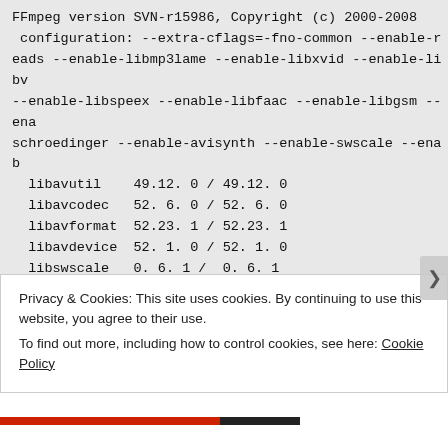FFmpeg version SVN-r15986, Copyright (c) 2000-2008
 configuration: --extra-cflags=-fno-common --enable-r
eads --enable-libmp3lame --enable-libxvid --enable-libv
--enable-libspeex --enable-libfaac --enable-libgsm --ena
schroedinger --enable-avisynth --enable-swscale --enab
  libavutil    49.12. 0 / 49.12. 0
  libavcodec   52. 6. 0 / 52. 6. 0
  libavformat  52.23. 1 / 52.23. 1
  libavdevice  52. 1. 0 / 52. 1. 0
  libswscale   0. 6. 1 /  0. 6. 1
  built on Dec  3 2008 01:59:37, gcc: 4.2.4
FFmpeg SVN-r15986
libavutil    49.12. 0 / 49.12. 0
Privacy & Cookies: This site uses cookies. By continuing to use this website, you agree to their use.
To find out more, including how to control cookies, see here: Cookie Policy
Close and accept